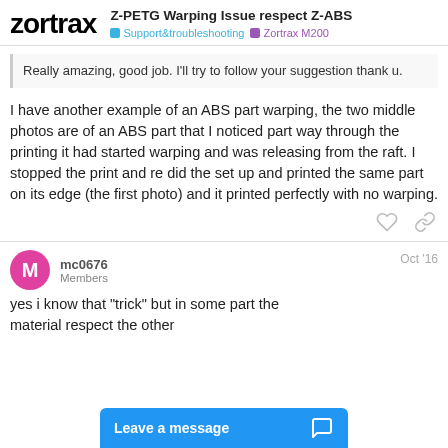Zortrax | Z-PETG Warping Issue respect Z-ABS | Support&troubleshooting | Zortrax M200
Really amazing, good job. I'll try to follow your suggestion thank u.
I have another example of an ABS part warping, the two middle photos are of an ABS part that I noticed part way through the printing it had started warping and was releasing from the raft. I stopped the print and re did the set up and printed the same part on its edge (the first photo) and it printed perfectly with no warping.
mc0676
Members
Oct '16
yes i know that "trick" but in some part the... material respect the other...